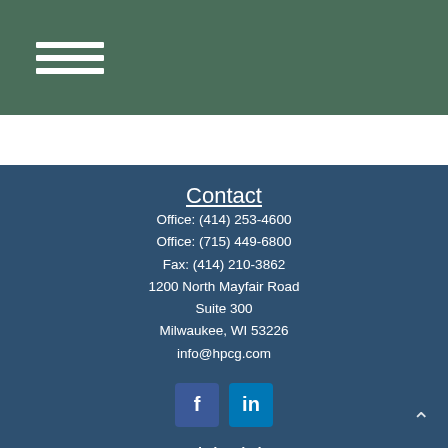[Figure (other): Hamburger menu icon (three horizontal white lines) on dark green background]
Contact
Office: (414) 253-4600
Office: (715) 449-6800
Fax: (414) 210-3862
1200 North Mayfair Road
Suite 300
Milwaukee, WI 53226
info@hpcg.com
[Figure (other): Facebook and LinkedIn social media icon buttons]
Quick Links
Retirement
Investment
Estate